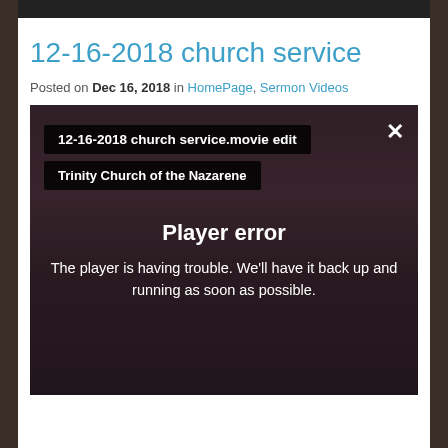12-16-2018 church service
Posted on Dec 16, 2018 in HomePage, Sermon Videos
[Figure (screenshot): Video player showing a church interior with a player error overlay. Title bar reads '12-16-2018 church service.movie edit', channel bar reads 'Trinity Church of the Nazarene', close button X in top right. Player error message: 'Player error - The player is having trouble. We'll have it back up and running as soon as possible.']